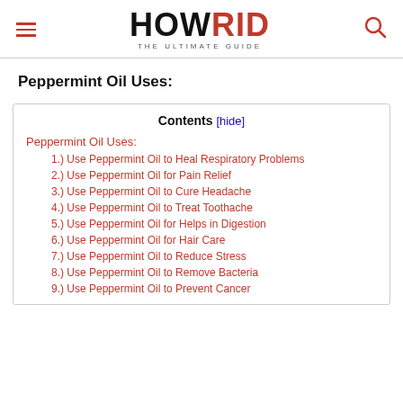HOW RID THE ULTIMATE GUIDE
Peppermint Oil Uses:
| Contents |
| --- |
| Peppermint Oil Uses: |
| 1.) Use Peppermint Oil to Heal Respiratory Problems |
| 2.) Use Peppermint Oil for Pain Relief |
| 3.) Use Peppermint Oil to Cure Headache |
| 4.) Use Peppermint Oil to Treat Toothache |
| 5.) Use Peppermint Oil for Helps in Digestion |
| 6.) Use Peppermint Oil for Hair Care |
| 7.) Use Peppermint Oil to Reduce Stress |
| 8.) Use Peppermint Oil to Remove Bacteria |
| 9.) Use Peppermint Oil to Prevent Cancer |